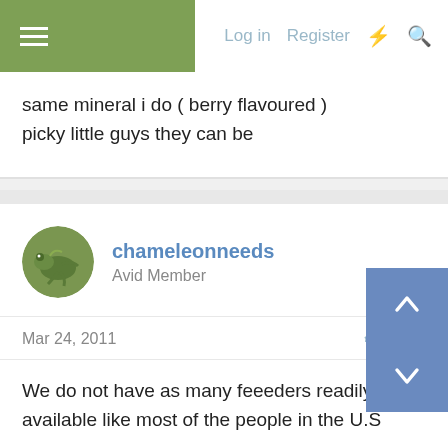≡  Log in  Register  ⚡  🔍
same mineral i do ( berry flavoured )
picky little guys they can be
chameleonneeds
Avid Member
Mar 24, 2011   #13
We do not have as many feeeders readily available like most of the people in the U.S
We can get mostly crickets, mealworms, superworms, silkworms if its the right time and cockroaches, maybe waxworms if you are really lucky.